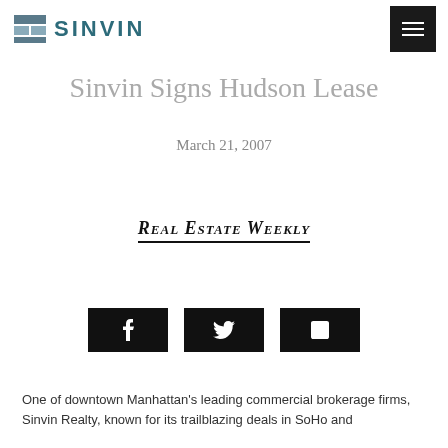SINVIN
Sinvin Signs Hudson Lease
March 21, 2007
[Figure (logo): Real Estate Weekly publication logo with underline]
[Figure (infographic): Social share buttons: Facebook, Twitter, LinkedIn]
One of downtown Manhattan's leading commercial brokerage firms, Sinvin Realty, known for its trailblazing deals in SoHo and